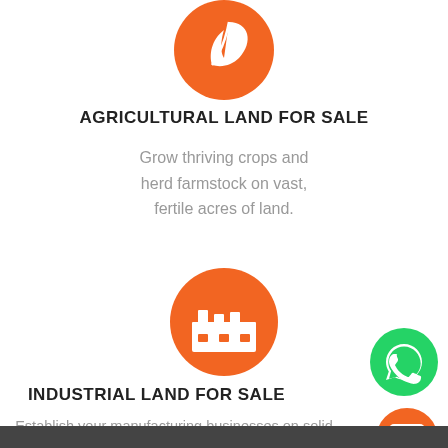[Figure (illustration): Orange circle with white leaf icon for agricultural land]
AGRICULTURAL LAND FOR SALE
Grow thriving crops and herd farmstock on vast, fertile acres of land.
[Figure (illustration): Orange circle with white factory/industrial building icon for industrial land]
INDUSTRIAL LAND FOR SALE
Establish your manufacturing businesses on solid ground to develop and produce prolific goods.
[Figure (illustration): Teal/green WhatsApp button icon on right side]
[Figure (illustration): Orange chat button icon on right side]